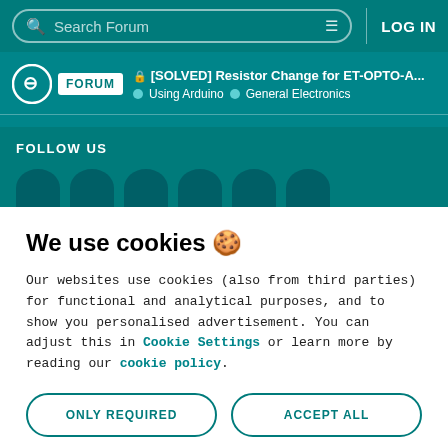Search Forum | LOG IN
[SOLVED] Resistor Change for ET-OPTO-A... | Using Arduino | General Electronics
FOLLOW US
We use cookies 🍪
Our websites use cookies (also from third parties) for functional and analytical purposes, and to show you personalised advertisement. You can adjust this in Cookie Settings or learn more by reading our cookie policy.
ONLY REQUIRED | ACCEPT ALL